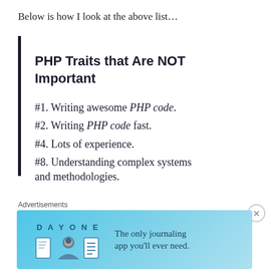Below is how I look at the above list…
PHP Traits that Are NOT Important
#1. Writing awesome PHP code.
#2. Writing PHP code fast.
#4. Lots of experience.
#8. Understanding complex systems and methodologies.
Advertisements
[Figure (illustration): Day One journaling app advertisement banner with icons and text 'The only journaling app you'll ever need.']